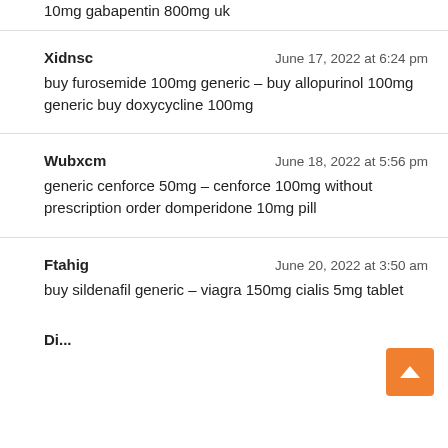10mg gabapentin 800mg uk
Xidnsc
June 17, 2022 at 6:24 pm
buy furosemide 100mg generic – buy allopurinol 100mg generic buy doxycycline 100mg
Wubxcm
June 18, 2022 at 5:56 pm
generic cenforce 50mg – cenforce 100mg without prescription order domperidone 10mg pill
Ftahig
June 20, 2022 at 3:50 am
buy sildenafil generic – viagra 150mg cialis 5mg tablet
Di...